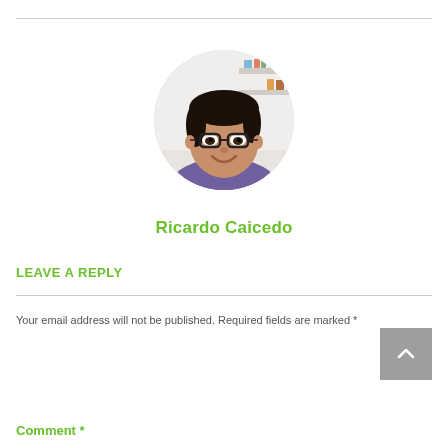[Figure (photo): Circular profile photo of Ricardo Caicedo, a young man with glasses and dark hair, smiling, wearing a purple shirt, with a bright indoor background.]
Ricardo Caicedo
LEAVE A REPLY
Your email address will not be published. Required fields are marked *
Comment *